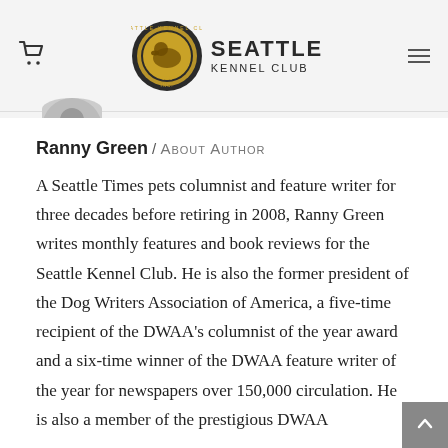Seattle Kennel Club
Ranny Green / About Author
A Seattle Times pets columnist and feature writer for three decades before retiring in 2008, Ranny Green writes monthly features and book reviews for the Seattle Kennel Club. He is also the former president of the Dog Writers Association of America, a five-time recipient of the DWAA's columnist of the year award and a six-time winner of the DWAA feature writer of the year for newspapers over 150,000 circulation. He is also a member of the prestigious DWAA